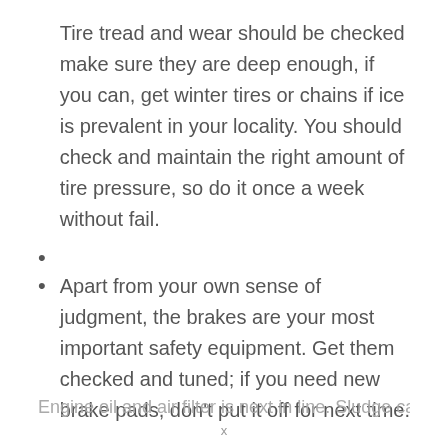Tire tread and wear should be checked make sure they are deep enough, if you can, get winter tires or chains if ice is prevalent in your locality. You should check and maintain the right amount of tire pressure, so do it once a week without fail.
Apart from your own sense of judgment, the brakes are your most important safety equipment. Get them checked and tuned; if you need new brake pads, don't put it off for next time.
Engine oil and air filter is next in line. Sludge can